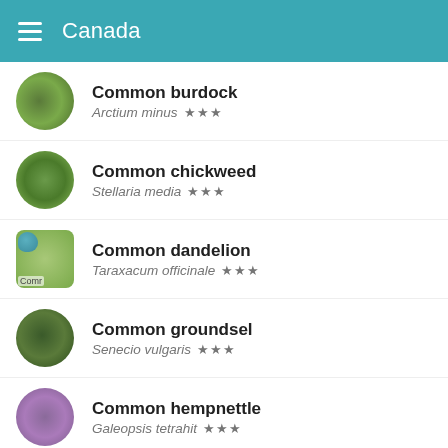Canada
Common burdock — Arctium minus ★★★
Common chickweed — Stellaria media ★★★
Common dandelion — Taraxacum officinale ★★★
Common groundsel — Senecio vulgaris ★★★
Common hempnettle — Galeopsis tetrahit ★★★
Common milkweed — Asclepias syriaca ★★★
Common ragweed — Ambrosia artemisiifolia ★★★